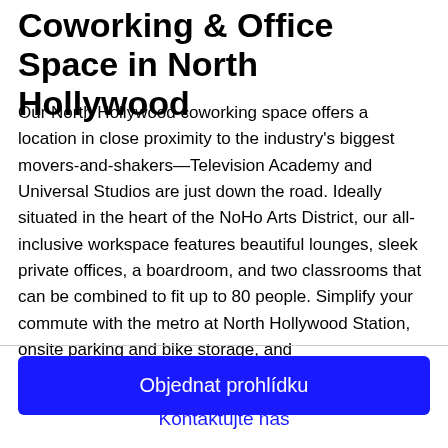Coworking & Office Space in North Hollywood
Our North Hollywood coworking space offers a location in close proximity to the industry's biggest movers-and-shakers—Television Academy and Universal Studios are just down the road. Ideally situated in the heart of the NoHo Arts District, our all-inclusive workspace features beautiful lounges, sleek private offices, a boardroom, and two classrooms that can be combined to fit up to 80 people. Simplify your commute with the metro at North Hollywood Station, onsite parking and bike storage, and
Objednat prohlídku
Kontaktujte nás